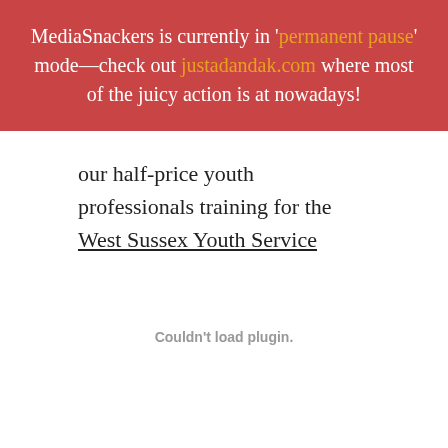MediaSnackers is currently in 'permanent pause' mode—check out justadandak.com where most of the juicy action is at nowadays!
our half-price youth professionals training for the West Sussex Youth Service
Couldn't load plugin.